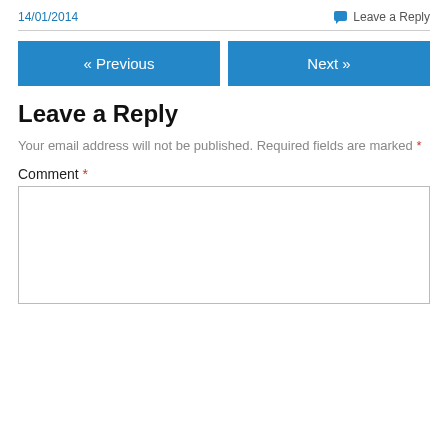14/01/2014
Leave a Reply
« Previous
Next »
Leave a Reply
Your email address will not be published. Required fields are marked *
Comment *